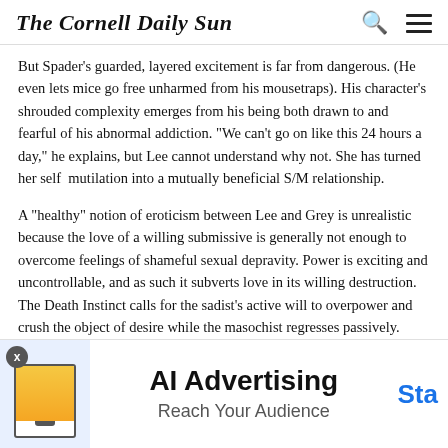The Cornell Daily Sun
But Spader's guarded, layered excitement is far from dangerous. (He even lets mice go free unharmed from his mousetraps). His character's shrouded complexity emerges from his being both drawn to and fearful of his abnormal addiction. "We can't go on like this 24 hours a day," he explains, but Lee cannot understand why not. She has turned her self mutilation into a mutually beneficial S/M relationship.
A "healthy" notion of eroticism between Lee and Grey is unrealistic because the love of a willing submissive is generally not enough to overcome feelings of shameful sexual depravity. Power is exciting and uncontrollable, and as such it subverts love in its willing destruction. The Death Instinct calls for the sadist's active will to overpower and crush the object of desire while the masochist regresses passively. Death, sex, love, and power are dangerously conjoined.
But Lee becomes the sadist in actively seeking out her ultimate pain. Sexual arousal is extremely quirky, replete with earthworms, typing errors, deified sharpies, and riding saddles. Gyllenhaal as the woman on the bottom may
[Figure (infographic): Advertisement banner: AI Advertising - Reach Your Audience, with a monitor illustration on the left and 'Sta' (Start) text in blue on the right.]